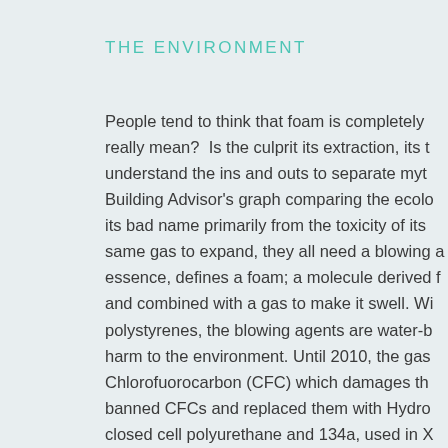THE ENVIRONMENT
People tend to think that foam is completely really mean?  Is the culprit its extraction, its t understand the ins and outs to separate myt Building Advisor's graph comparing the ecolo its bad name primarily from the toxicity of its same gas to expand, they all need a blowing a essence, defines a foam; a molecule derived f and combined with a gas to make it swell. Wi polystyrenes, the blowing agents are water-b harm to the environment. Until 2010, the ga Chlorofuorocarbon (CFC) which damages th banned CFCs and replaced them with Hydro closed cell polyurethane and 134a, used in X systems.